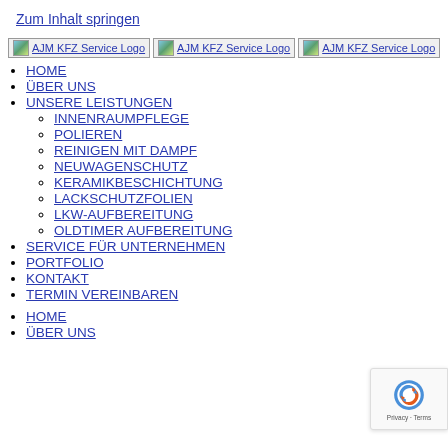Zum Inhalt springen
[Figure (logo): AJM KFZ Service Logo (three instances shown as broken image placeholders with link text)]
HOME
ÜBER UNS
UNSERE LEISTUNGEN
INNENRAUMPFLEGE
POLIEREN
REINIGEN MIT DAMPF
NEUWAGENSCHUTZ
KERAMIKBESCHICHTUNG
LACKSCHUTZFOLIEN
LKW-AUFBEREITUNG
OLDTIMER AUFBEREITUNG
SERVICE FÜR UNTERNEHMEN
PORTFOLIO
KONTAKT
TERMIN VEREINBAREN
HOME
ÜBER UNS
[Figure (logo): reCAPTCHA Privacy - Terms badge in bottom right corner]